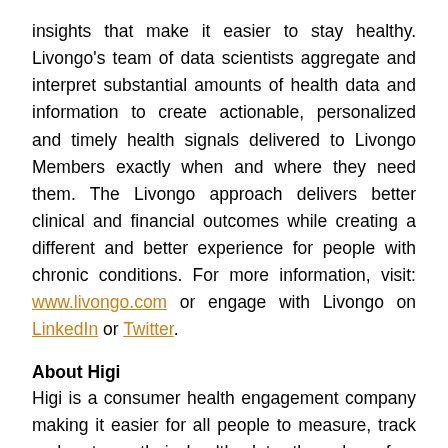insights that make it easier to stay healthy. Livongo's team of data scientists aggregate and interpret substantial amounts of health data and information to create actionable, personalized and timely health signals delivered to Livongo Members exactly when and where they need them. The Livongo approach delivers better clinical and financial outcomes while creating a different and better experience for people with chronic conditions. For more information, visit: www.livongo.com or engage with Livongo on LinkedIn or Twitter.
About Higi
Higi is a consumer health engagement company making it easier for all people to measure, track and act on their health data through a free nationwide network of 10,000 FDA-cleared self-screening Smart Health Stations located in pharmacy retailers and other community points of trust